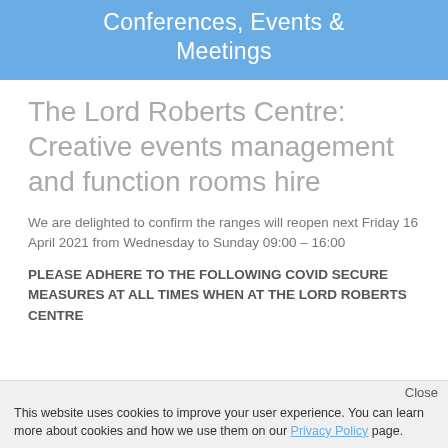Conferences, Events & Meetings
The Lord Roberts Centre: Creative events management and function rooms hire
We are delighted to confirm the ranges will reopen next Friday 16 April 2021 from Wednesday to Sunday 09:00 – 16:00
PLEASE ADHERE TO THE FOLLOWING COVID SECURE MEASURES AT ALL TIMES WHEN AT THE LORD ROBERTS CENTRE
Close
This website uses cookies to improve your user experience. You can learn more about cookies and how we use them on our Privacy Policy page.